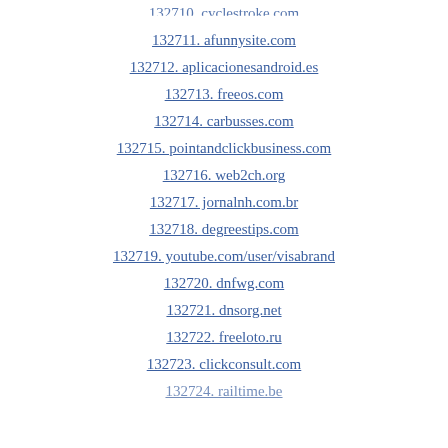132710. cyclestroke.com
132711. afunnysite.com
132712. aplicacionesandroid.es
132713. freeos.com
132714. carbusses.com
132715. pointandclickbusiness.com
132716. web2ch.org
132717. jornalnh.com.br
132718. degreestips.com
132719. youtube.com/user/visabrand
132720. dnfwg.com
132721. dnsorg.net
132722. freeloto.ru
132723. clickconsult.com
132724. railtime.be